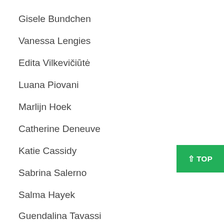Gisele Bundchen
Vanessa Lengies
Edita Vilkevičiūtė
Luana Piovani
Marlijn Hoek
Catherine Deneuve
Katie Cassidy
Sabrina Salerno
Salma Hayek
Guendalina Tavassi